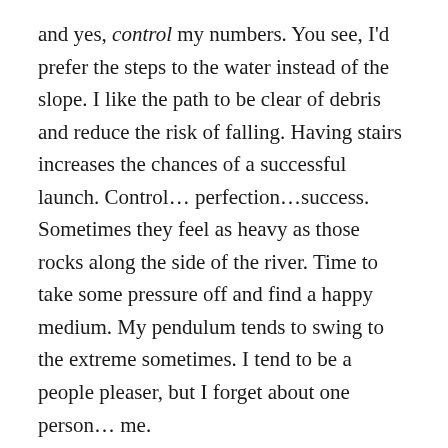and yes, control my numbers. You see, I'd prefer the steps to the water instead of the slope. I like the path to be clear of debris and reduce the risk of falling. Having stairs increases the chances of a successful launch. Control… perfection…success. Sometimes they feel as heavy as those rocks along the side of the river. Time to take some pressure off and find a happy medium. My pendulum tends to swing to the extreme sometimes. I tend to be a people pleaser, but I forget about one person… me.
I'm learning what I can tolerate. I'm learning what works best for me, because everyone is different. I'm learning to have grace, experiment and try some new things. My journey is not what I had expected. It's not